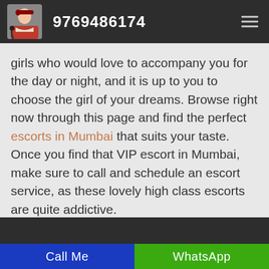9769486174
girls who would love to accompany you for the day or night, and it is up to you to choose the girl of your dreams. Browse right now through this page and find the perfect escorts in Mumbai that suits your taste. Once you find that VIP escort in Mumbai, make sure to call and schedule an escort service, as these lovely high class escorts are quite addictive.
Call Me | WhatsApp